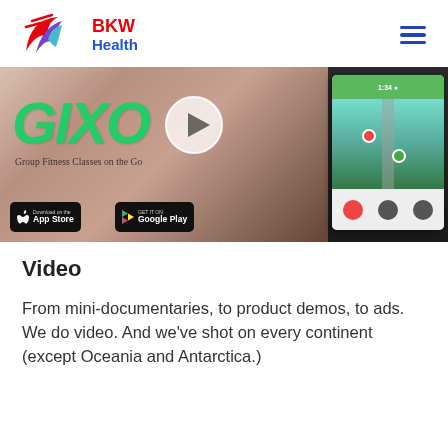[Figure (logo): BKW Health logo with stylized bird/wing icon in red, purple, and teal, with BKW in red and Health in blue text]
[Figure (screenshot): GIXO app video thumbnail showing a woman with earphones, GIXO logo in green, tagline 'Group Fitness Classes on the Go', App Store and Google Play badges, and a play button overlay. A phone screen showing the app map view is visible on the right.]
Video
From mini-documentaries, to product demos, to ads. We do video. And we've shot on every continent (except Oceania and Antarctica.)